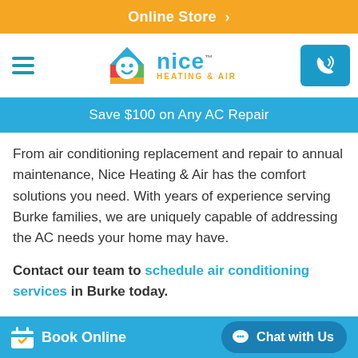Online Store >
[Figure (logo): Nice Heating & Air logo with colorful house icon and blue/orange text, plus hamburger menu and phone button]
Save $100 on Any AC Repair
From air conditioning replacement and repair to annual maintenance, Nice Heating & Air has the comfort solutions you need. With years of experience serving Burke families, we are uniquely capable of addressing the AC needs your home may have.
Contact our team to schedule air conditioning services in Burke today.
Book Online  Chat with Us